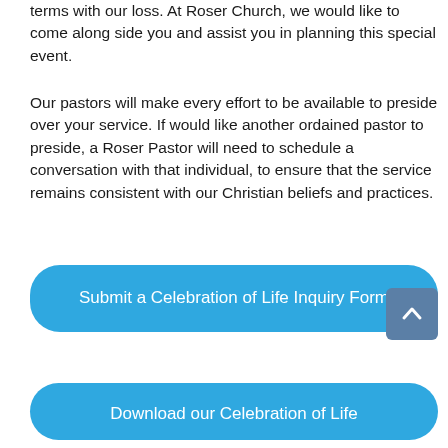terms with our loss. At Roser Church, we would like to come along side you and assist you in planning this special event.
Our pastors will make every effort to be available to preside over your service. If would like another ordained pastor to preside, a Roser Pastor will need to schedule a conversation with that individual, to ensure that the service remains consistent with our Christian beliefs and practices.
Submit a Celebration of Life Inquiry Form
Download our Celebration of Life